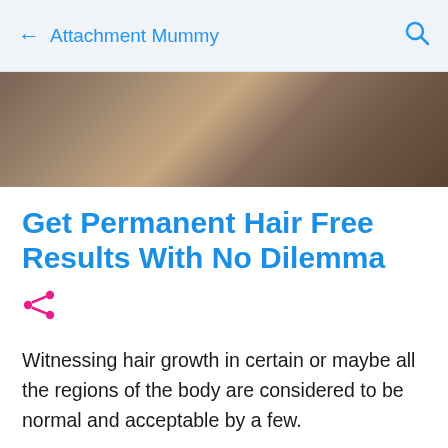← Attachment Mummy 🔍
[Figure (photo): Blurred close-up photo of hair, dark brown tones with bokeh effect]
Get Permanent Hair Free Results With No Dilemma
[Figure (other): Share icon in magenta/pink]
Witnessing hair growth in certain or maybe all the regions of the body are considered to be normal and acceptable by a few.
But many people today detest its presence